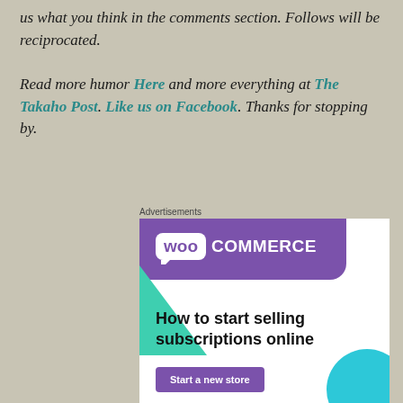us what you think in the comments section. Follows will be reciprocated.

Read more humor Here and more everything at The Takaho Post. Like us on Facebook. Thanks for stopping by.
Advertisements
[Figure (other): WooCommerce advertisement banner: purple header with WooCommerce logo, green triangle shape, blue circle accent, headline 'How to start selling subscriptions online', and a purple 'Start a new store' button.]